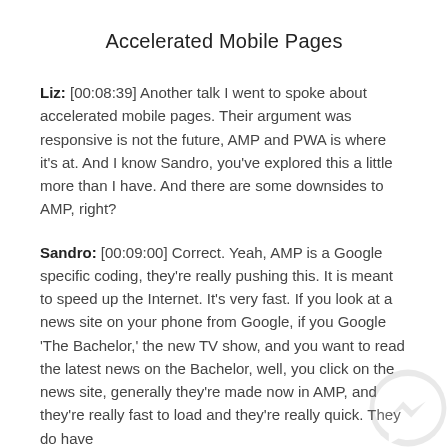Accelerated Mobile Pages
Liz: [00:08:39] Another talk I went to spoke about accelerated mobile pages. Their argument was responsive is not the future, AMP and PWA is where it's at. And I know Sandro, you've explored this a little more than I have. And there are some downsides to AMP, right?
Sandro: [00:09:00] Correct. Yeah, AMP is a Google specific coding, they're really pushing this. It is meant to speed up the Internet. It's very fast. If you look at a news site on your phone from Google, if you Google 'The Bachelor,' the new TV show, and you want to read the latest news on the Bachelor, well, you click on the news site, generally they're made now in AMP, and they're really fast to load and they're really quick. They do have